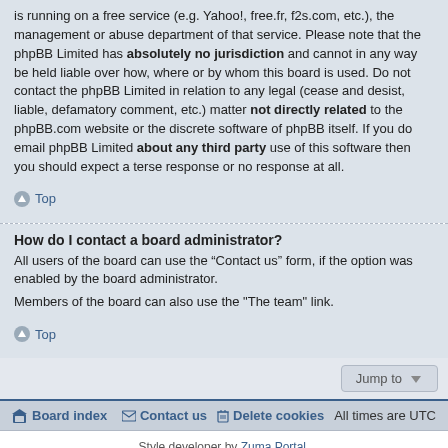is running on a free service (e.g. Yahoo!, free.fr, f2s.com, etc.), the management or abuse department of that service. Please note that the phpBB Limited has absolutely no jurisdiction and cannot in any way be held liable over how, where or by whom this board is used. Do not contact the phpBB Limited in relation to any legal (cease and desist, liable, defamatory comment, etc.) matter not directly related to the phpBB.com website or the discrete software of phpBB itself. If you do email phpBB Limited about any third party use of this software then you should expect a terse response or no response at all.
Top
How do I contact a board administrator?
All users of the board can use the “Contact us” form, if the option was enabled by the board administrator.
Members of the board can also use the "The team" link.
Top
Jump to
Board index   Contact us   Delete cookies   All times are UTC
Style developer by Zuma Portal. Powered by phpBB® Forum Software © phpBB Limited
Privacy | Terms